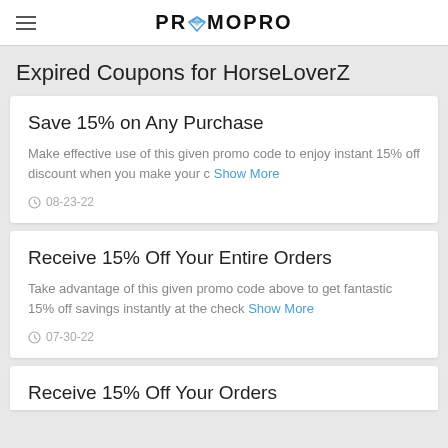PROMOPRO
Expired Coupons for HorseLoverZ
Save 15% on Any Purchase
Make effective use of this given promo code to enjoy instant 15% off discount when you make your c Show More
08-23-22
Receive 15% Off Your Entire Orders
Take advantage of this given promo code above to get fantastic 15% off savings instantly at the check Show More
07-30-22
Receive 15% Off Your Orders